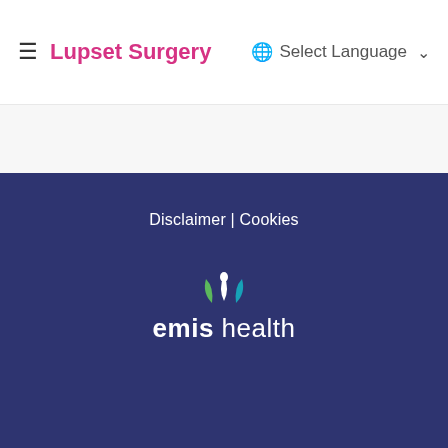Lupset Surgery | Select Language
[Figure (logo): EMIS Health logo with stylized leaf/flower icon above the text 'emis health' in white on dark navy background]
Disclaimer | Cookies